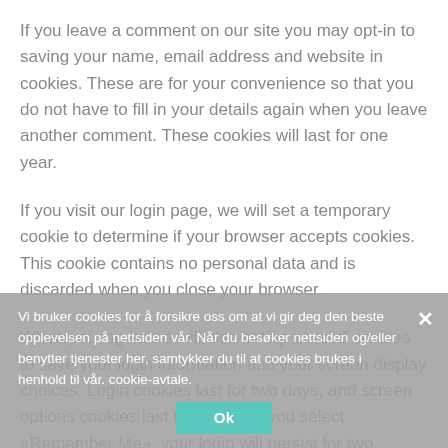If you leave a comment on our site you may opt-in to saving your name, email address and website in cookies. These are for your convenience so that you do not have to fill in your details again when you leave another comment. These cookies will last for one year.
If you visit our login page, we will set a temporary cookie to determine if your browser accepts cookies. This cookie contains no personal data and is discarded when you close your browser.
When you log in, we will also set up several cookies to save your login information and your screen display choices. Login cookies last for two days, and screen options cookies last for a year. If you select «Remember Me», your login will persist for two weeks. If you log out of your account, the login cookies will be removed.
Vi bruker cookies for å forsikre oss om at vi gir deg den beste opplevelsen på nettsiden vår. Når du besøker nettsiden og/eller benytter tjenester her, samtykker du til at cookies brukes i henhold til vår. cookie-avtale.